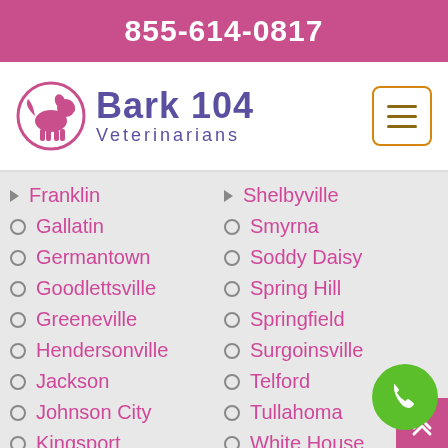855-614-0817
[Figure (logo): Bark 104 Veterinarians logo with dog silhouette in a circle]
Franklin
Shelbyville
Gallatin
Smyrna
Germantown
Soddy Daisy
Goodlettsville
Spring Hill
Greeneville
Springfield
Hendersonville
Surgoinsville
Jackson
Telford
Johnson City
Tullahoma
Kingsport
White House
Knoxville
Whitesburg
La Vergne